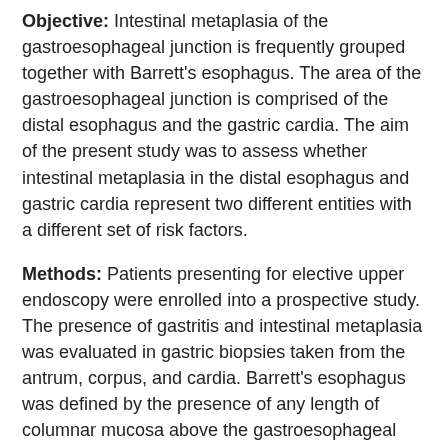Objective: Intestinal metaplasia of the gastroesophageal junction is frequently grouped together with Barrett's esophagus. The area of the gastroesophageal junction is comprised of the distal esophagus and the gastric cardia. The aim of the present study was to assess whether intestinal metaplasia in the distal esophagus and gastric cardia represent two different entities with a different set of risk factors.
Methods: Patients presenting for elective upper endoscopy were enrolled into a prospective study. The presence of gastritis and intestinal metaplasia was evaluated in gastric biopsies taken from the antrum, corpus, and cardia. Barrett's esophagus was defined by the presence of any length of columnar mucosa above the gastroesophageal junction.
Results: Of 302 patients, 50 patients had intestinal metaplasia of the gastric cardia, 73 Barrett's esophagus, and 116 erosive esophagitis. Men were more prone than